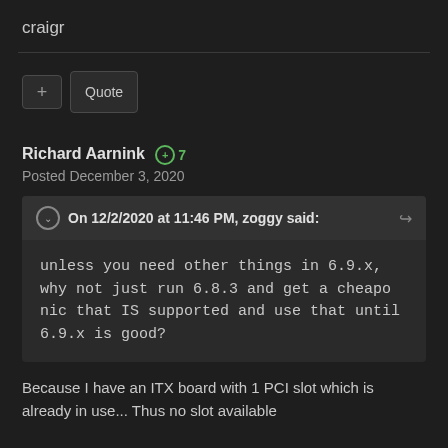craigr
+ Quote
Richard Aarnink +7
Posted December 3, 2020
On 12/2/2020 at 11:46 PM, zoggy said:
unless you need other things in 6.9.x, why not just run 6.8.3 and get a cheapo nic that IS supported and use that until 6.9.x is good?
Because I have an ITX board with 1 PCI slot which is already in use... Thus no slot available